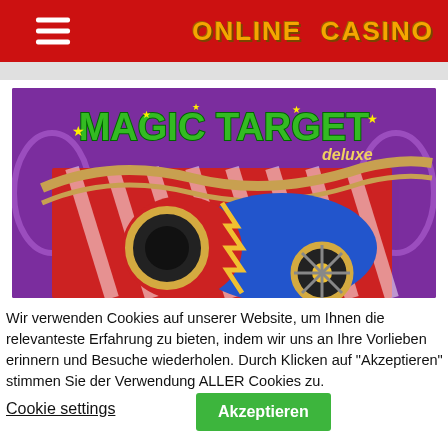ONLINE CASINO
[Figure (screenshot): Magic Target Deluxe slot game banner image showing colorful circus cannon on purple background with green 'Magic Target Deluxe' logo text]
Wir verwenden Cookies auf unserer Website, um Ihnen die relevanteste Erfahrung zu bieten, indem wir uns an Ihre Vorlieben erinnern und Besuche wiederholen. Durch Klicken auf "Akzeptieren" stimmen Sie der Verwendung ALLER Cookies zu.
Cookie settings
Akzeptieren